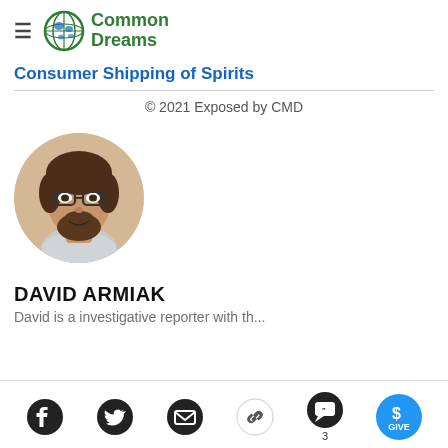Common Dreams
Consumer Shipping of Spirits
© 2021 Exposed by CMD
[Figure (photo): Circular headshot photo of David Armiak, a man with glasses, brown hair, and a beard, smiling, wearing a plaid shirt, against a warm beige background.]
DAVID ARMIAK
David is a...